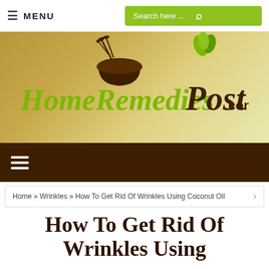≡ MENU  |  Search here ...
[Figure (logo): HomeRemediesPost.com logo on golden/tan gradient background with mortar and pestle icon and leaf decorations]
≡ (hamburger menu on dark brown bar)
Home » Wrinkles » How To Get Rid Of Wrinkles Using Coconut Oil
How To Get Rid Of Wrinkles Using